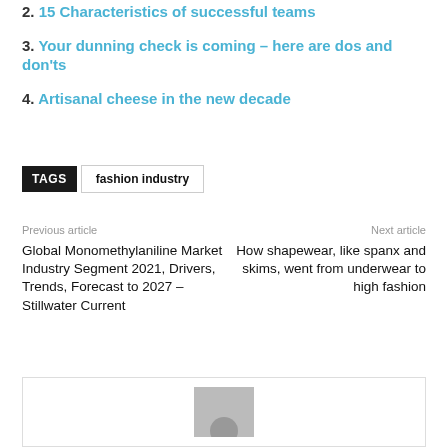2. 15 Characteristics of successful teams
3. Your dunning check is coming – here are dos and don'ts
4. Artisanal cheese in the new decade
TAGS   fashion industry
Previous article
Next article
Global Monomethylaniline Market Industry Segment 2021, Drivers, Trends, Forecast to 2027 – Stillwater Current
How shapewear, like spanx and skims, went from underwear to high fashion
[Figure (illustration): Profile avatar placeholder image — grey box with grey circle representing a user silhouette]